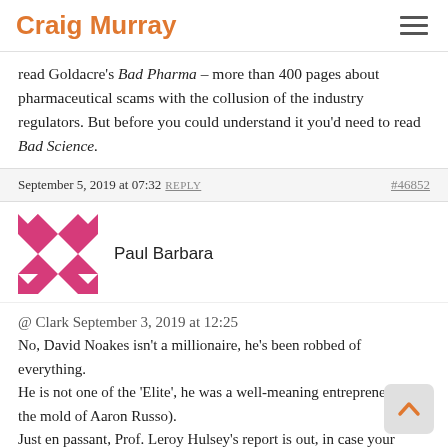Craig Murray
read Goldacre's Bad Pharma – more than 400 pages about pharmaceutical scams with the collusion of the industry regulators. But before you could understand it you'd need to read Bad Science.
September 5, 2019 at 07:32 REPLY   #46852
Paul Barbara
@ Clark September 3, 2019 at 12:25
No, David Noakes isn't a millionaire, he's been robbed of everything.
He is not one of the 'Elite', he was a well-meaning entrepreneur (in the mold of Aaron Russo).
Just en passant, Prof. Leroy Hulsey's report is out, in case your interested. I'm not proposing we discuss it, just letting you know